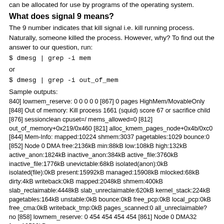can be allocated for use by programs of the operating system.
What does signal 9 means?
The 9 number indicates that kill signal i.e. kill running process. Naturally, someone killed the process. However, why? To find out the answer to our question, run:
$ dmesg | grep -i mem
or
$ dmesg | grep -i out_of_mem
Sample outputs:
840] lowmem_reserve: 0 0 0 0 0 [867] 0 pages HighMem/MovableOnly [848] Out of memory: Kill process 1661 (squid) score 67 or sacrifice child [876] sessionclean cpuset=/ mems_allowed=0 [812] out_of_memory+0x219/0x460 [821] alloc_kmem_pages_node+0x4b/0xc0 [844] Mem-Info: mapped:10224 shmem:3037 pagetables:1029 bounce:0 [852] Node 0 DMA free:2136kB min:88kB low:108kB high:132kB active_anon:1824kB inactive_anon:384kB active_file:3760kB inactive_file:1776kB unevictable:68kB isolated(anon):0kB isolated(file):0kB present:15992kB managed:15908kB mlocked:68kB dirty:4kB writeback:0kB mapped:2048kB shmem:400kB slab_reclaimable:4448kB slab_unreclaimable:620kB kernel_stack:224kB pagetables:164kB unstable:0kB bounce:0kB free_pcp:0kB local_pcp:0kB free_cma:0kB writeback_tmp:0kB pages_scanned:0 all_unreclaimable? no [858] lowmem_reserve: 0 454 454 454 454 [861] Node 0 DMA32 free:10596kB